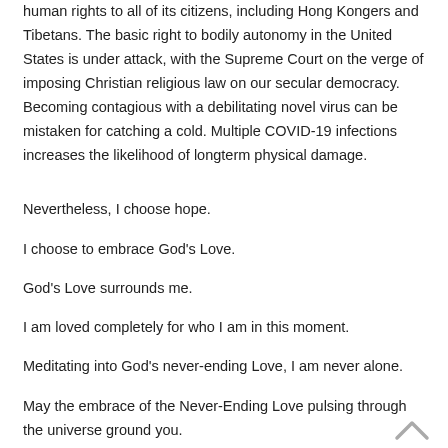human rights to all of its citizens, including Hong Kongers and Tibetans. The basic right to bodily autonomy in the United States is under attack, with the Supreme Court on the verge of imposing Christian religious law on our secular democracy. Becoming contagious with a debilitating novel virus can be mistaken for catching a cold. Multiple COVID-19 infections increases the likelihood of longterm physical damage.
Nevertheless, I choose hope.
I choose to embrace God's Love.
God's Love surrounds me.
I am loved completely for who I am in this moment.
Meditating into God's never-ending Love, I am never alone.
May the embrace of the Never-Ending Love pulsing through the universe ground you.